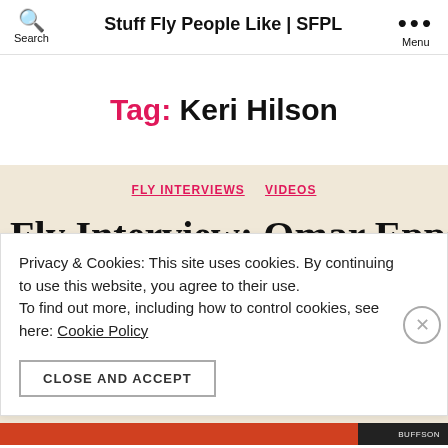Stuff Fly People Like | SFPL
Tag: Keri Hilson
FLY INTERVIEWS  VIDEOS
Fly Interview: Omar Epps
Privacy & Cookies: This site uses cookies. By continuing to use this website, you agree to their use. To find out more, including how to control cookies, see here: Cookie Policy
CLOSE AND ACCEPT